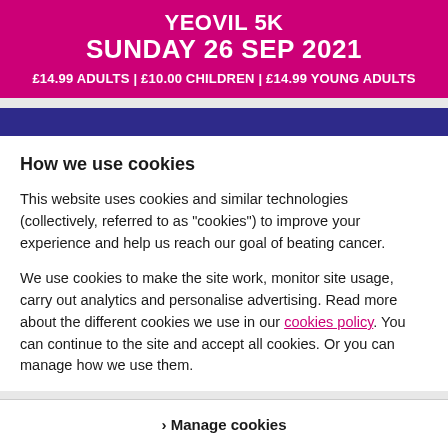YEOVIL 5K
SUNDAY 26 SEP 2021
£14.99 ADULTS | £10.00 CHILDREN | £14.99 YOUNG ADULTS
How we use cookies
This website uses cookies and similar technologies (collectively, referred to as "cookies") to improve your experience and help us reach our goal of beating cancer.
We use cookies to make the site work, monitor site usage, carry out analytics and personalise advertising. Read more about the different cookies we use in our cookies policy. You can continue to the site and accept all cookies. Or you can manage how we use them.
> Manage cookies